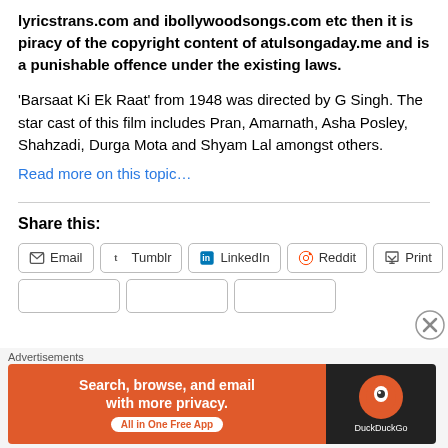lyricstrans.com and ibollywoodsongs.com etc then it is piracy of the copyright content of atulsongaday.me and is a punishable offence under the existing laws.
'Barsaat Ki Ek Raat' from 1948 was directed by G Singh. The star cast of this film includes Pran, Amarnath, Asha Posley, Shahzadi, Durga Mota and Shyam Lal amongst others.
Read more on this topic…
Share this:
Email  Tumblr  LinkedIn  Reddit  Print
[Figure (infographic): DuckDuckGo advertisement banner: 'Search, browse, and email with more privacy. All in One Free App' with DuckDuckGo logo on dark background]